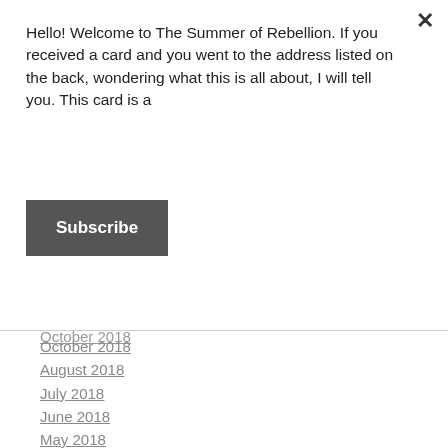Hello! Welcome to The Summer of Rebellion. If you received a card and you went to the address listed on the back, wondering what this is all about, I will tell you. This card is a
Subscribe
October 2018
August 2018
July 2018
June 2018
May 2018
April 2018
March 2018
February 2018
January 2018
December 2017
November 2017
October 2017
September 2017
August 2017
July 2017
June 2017